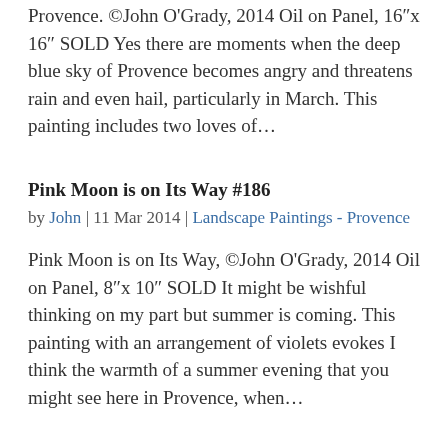Provence. ©John O'Grady, 2014 Oil on Panel, 16"x 16" SOLD Yes there are moments when the deep blue sky of Provence becomes angry and threatens rain and even hail, particularly in March. This painting includes two loves of…
Pink Moon is on Its Way #186
by John | 11 Mar 2014 | Landscape Paintings - Provence
Pink Moon is on Its Way, ©John O'Grady, 2014 Oil on Panel, 8"x 10" SOLD It might be wishful thinking on my part but summer is coming. This painting with an arrangement of violets evokes I think the warmth of a summer evening that you might see here in Provence, when…